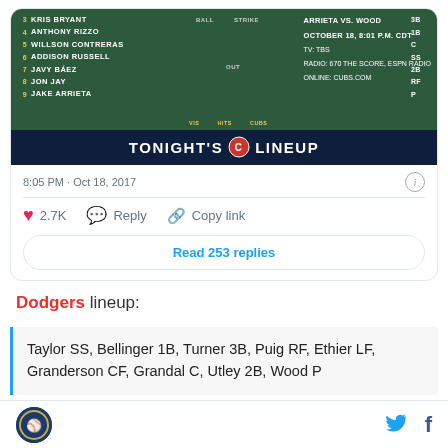[Figure (screenshot): Screenshot of a tweet showing the Chicago Cubs Tonight's Lineup scoreboard image. The scoreboard lists players 3-9: Kris Bryant 3B, Anthony Rizzo 1B, Willson Contreras C, Addison Russell SS, Javy Báez 2B, Jon Jay RF, Jake Arrieta P. Right side shows ARRIETA VS. WOOD, OCTOBER 18, 8:01 P.M. CDT, TV: TBS, RADIO: 670 THE SCORE, ESPN RADIO, ONLINE: CUBS.COM. Below scoreboard is dark navy banner reading TONIGHT'S [Cubs logo] LINEUP.]
8:05 PM · Oct 18, 2017
♥ 2.7K   Reply   Copy link
Read 253 replies
Dodgers lineup:
Taylor SS, Bellinger 1B, Turner 3B, Puig RF, Ethier LF, Granderson CF, Grandal C, Utley 2B, Wood P